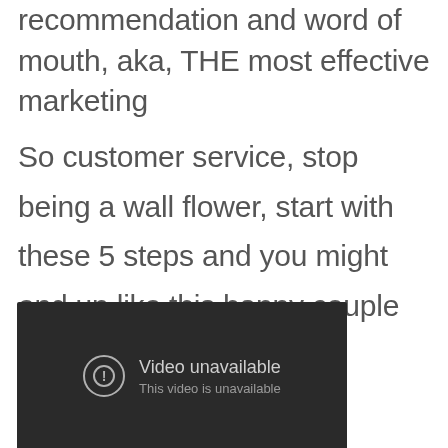recommendation and word of mouth, aka, THE most effective marketing
So customer service, stop being a wall flower, start with these 5 steps and you might end up like this happy couple on the dance floor!
[Figure (screenshot): Embedded video player showing 'Video unavailable' error message with a circle-exclamation icon and text 'This video is unavailable' on a dark background.]